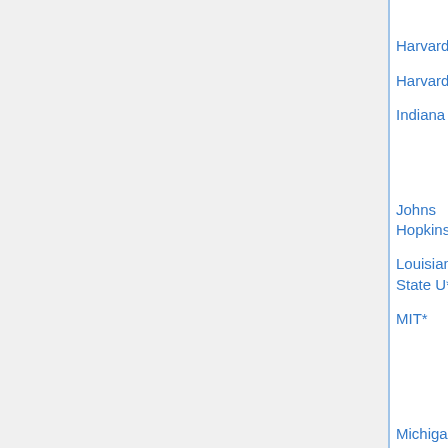| Institution | Type | Date | Names |
| --- | --- | --- | --- |
|  |  |  | Wickel... |
| Harvard U | Jr Fellow | Sep 5 |  |
| Harvard U (a) | various |  |  |
| Indiana U* | Zorn | Dec 15 | S. Zubi... Gautan... Deepa... □ |
| Johns Hopkins U* | Sylvester | Nov 17 |  |
| Louisiana State U* | postdoc | Jan 2 | filled (1... |
| MIT* | Moore | Dec 1 | Olivier... Bernar... Schom... Pries, K... Tingley... |
| Michigan State U* | postdoc | Dec 31 |  |
| Michigan State U* | geom/topol | Dec 31 | filled □ |
| Michigan Tech □ | visiting asst |  |  |